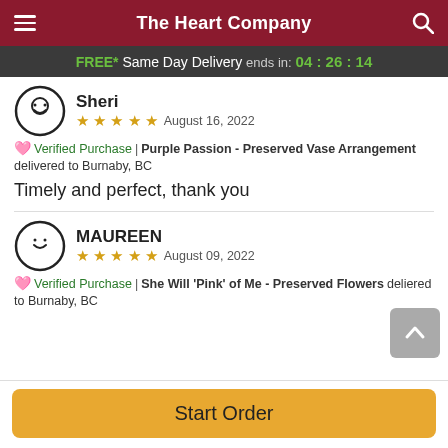The Heart Company
FREE* Same Day Delivery ends in: 04:26:14
Sheri
★★★★★ August 16, 2022
🩷 Verified Purchase | Purple Passion - Preserved Vase Arrangement delivered to Burnaby, BC
Timely and perfect, thank you
MAUREEN
★★★★★ August 09, 2022
🩷 Verified Purchase | She Will 'Pink' of Me - Preserved Flowers delivered to Burnaby, BC
Start Order